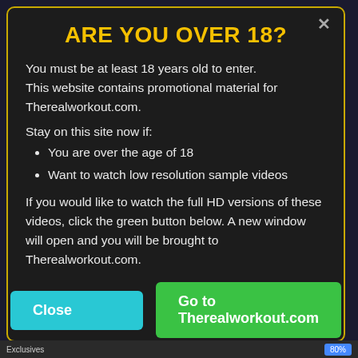ARE YOU OVER 18?
You must be at least 18 years old to enter. This website contains promotional material for Therealworkout.com.
Stay on this site now if:
You are over the age of 18
Want to watch low resolution sample videos
If you would like to watch the full HD versions of these videos, click the green button below. A new window will open and you will be brought to Therealworkout.com.
[Figure (other): Two buttons: 'Close' (cyan/teal) and 'Go to Therealworkout.com' (green)]
Exclusives  80%